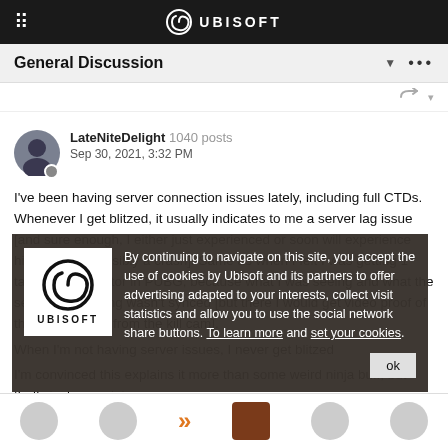⠿  UBISOFT
General Discussion
LateNiteDelight  1040 posts
Sep 30, 2021, 3:32 PM
I've been having server connection issues lately, including full CTDs. Whenever I get blitzed, it usually indicates to me a server lag issue [and sure enough, I either just experienced or soon will experience hitching and possibly a crash]. Same as when I felt I was getting 1 tapped by a Vector in PUBG, because what I was seeing and what the server was seeing wasn't synced [but there I would get video proof of the server issue from the kill cam].
When I'm not having server issues, I never get blitzed
I'm convinced this explains it more than some weird ninja buff, but that's just my opinion.
[Figure (screenshot): Cookie consent overlay on Ubisoft website showing Ubisoft logo and text: 'By continuing to navigate on this site, you accept the use of cookies by Ubisoft and its partners to offer advertising adapted to your interests, collect visit statistics and allow you to use the social network share buttons. To learn more and set your cookies.' with an 'ok' button.]